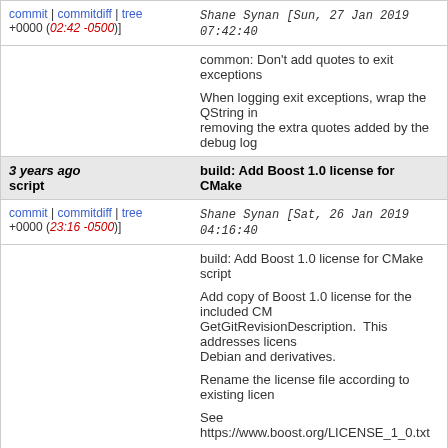commit | commitdiff | tree   Shane Synan [Sun, 27 Jan 2019 07:42:40 +0000 (02:42 -0500)]
common: Don't add quotes to exit exceptions

When logging exit exceptions, wrap the QString in removing the extra quotes added by the debug log
3 years ago script   build: Add Boost 1.0 license for CMake
commit | commitdiff | tree   Shane Synan [Sat, 26 Jan 2019 04:16:40 +0000 (23:16 -0500)]
build: Add Boost 1.0 license for CMake script

Add copy of Boost 1.0 license for the included CMake GetGitRevisionDescription. This addresses license Debian and derivatives.

Rename the license file according to existing license

See https://www.boost.org/LICENSE_1_0.txt

Fixes #1504
3 years ago inputwidget   Fixes misalignment of buttons in